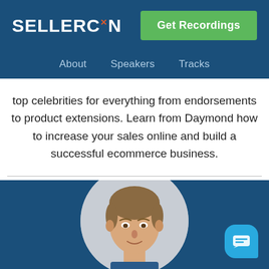SELLERCON
Get Recordings
About   Speakers   Tracks
top celebrities for everything from endorsements to product extensions. Learn from Daymond how to increase your sales online and build a successful ecommerce business.
[Figure (photo): Portrait of a man with brown hair cropped in a circular frame against a light gray background, positioned in the lower blue section of the page.]